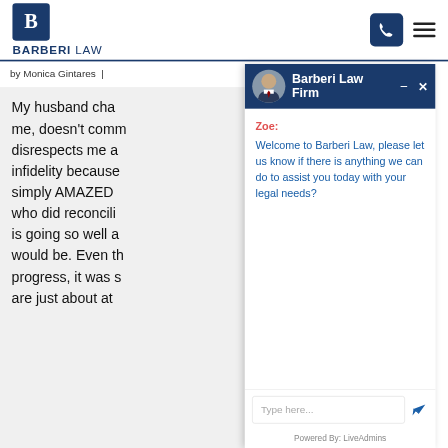[Figure (logo): Barberi Law firm logo with 'B' monogram in dark navy box and text 'BARBERI LAW' below]
by Monica Gintares
My husband cha... me, doesn't comm... disrespects me a... infidelity because... simply AMAZED... who did reconcili... is going so well a... would be. Even th... progress, it was s... are just about at...
[Figure (screenshot): Barberi Law Firm live chat widget with Zoe greeting: 'Welcome to Barberi Law, please let us know if there is anything we can do to assist you today with your legal needs?' and a Type here... input box. Powered By: LiveAdmins]